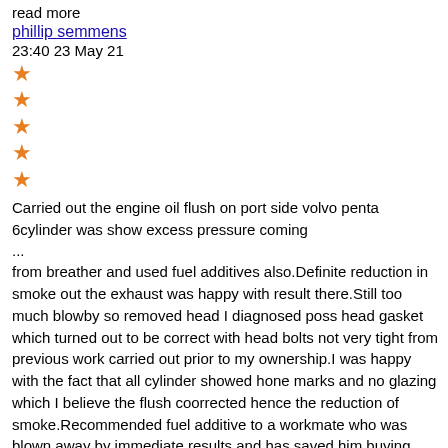read more
phillip semmens
23:40 23 May 21
[Figure (other): 5 orange stars arranged vertically]
Carried out the engine oil flush on port side volvo penta 6cylinder was show excess pressure coming
...
from breather and used fuel additives also.Definite reduction in smoke out the exhaust was happy with result there.Still too much blowby so removed head I diagnosed poss head gasket which turned out to be correct with head bolts not very tight from previous work carried out prior to my ownership.I was happy with the fact that all cylinder showed hone marks and no glazing which I believe the flush coorrected hence the reduction of smoke.Recommended fuel additive to a workmate who was blown away by immediate results and has saved him buying new common rail injectors in his Hiace. Highly recommend your Products read more
Antonio Silva
04:34 11 May 21
[Figure (other): 1 orange star (partial view at bottom)]